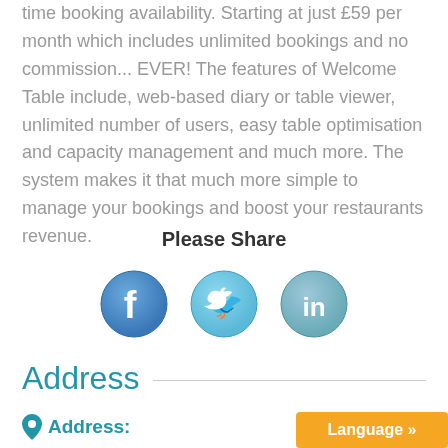time booking availability. Starting at just £59 per month which includes unlimited bookings and no commission... EVER! The features of Welcome Table include, web-based diary or table viewer, unlimited number of users, easy table optimisation and capacity management and much more. The system makes it that much more simple to manage your bookings and boost your restaurants revenue.
Please Share
[Figure (infographic): Three social media share buttons: Facebook (blue circle with f logo), Twitter (light blue circle with bird logo), LinkedIn (grey-blue circle with 'in' logo)]
Address
Address: